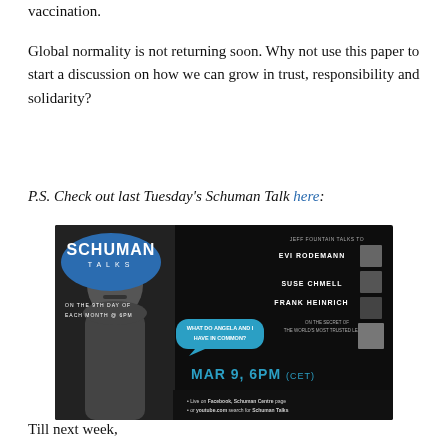vaccination.
Global normality is not returning soon. Why not use this paper to start a discussion on how we can grow in trust, responsibility and solidarity?
P.S. Check out last Tuesday's Schuman Talk here:
[Figure (illustration): Schuman Talks promotional banner for Mar 9, 6PM (CET). Jeff Fountain talks to Evi Rodemann, Suse Chmell & Frank Heinrich on the secret of the world's most trusted leader. Speech bubble: 'What do Angela and I have in common?' Features a bust photo and three speaker photos.]
Till next week,